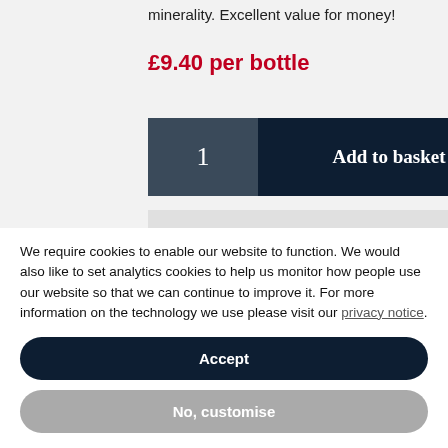minerality. Excellent value for money!
£9.40 per bottle
1  Add to basket
We require cookies to enable our website to function. We would also like to set analytics cookies to help us monitor how people use our website so that we can continue to improve it. For more information on the technology we use please visit our privacy notice.
Accept
No, customise